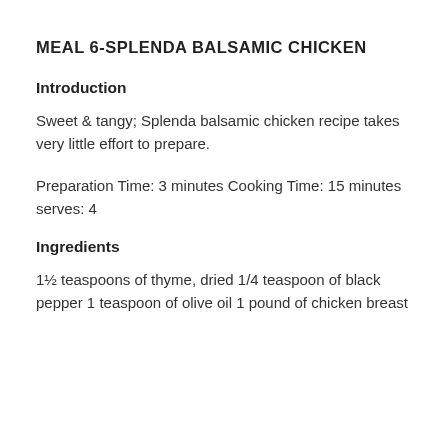MEAL 6-SPLENDA BALSAMIC CHICKEN
Introduction
Sweet & tangy; Splenda balsamic chicken recipe takes very little effort to prepare.
Preparation Time: 3 minutes Cooking Time: 15 minutes serves: 4
Ingredients
1½ teaspoons of thyme, dried 1/4 teaspoon of black pepper 1 teaspoon of olive oil 1 pound of chicken breast